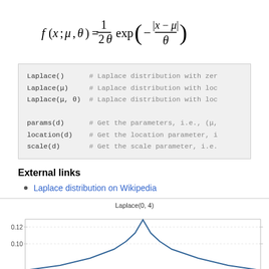Laplace()  # Laplace distribution with zer
Laplace(μ)  # Laplace distribution with loc
Laplace(μ, θ)  # Laplace distribution with loc

params(d)  # Get the parameters, i.e., (μ,
location(d)  # Get the location parameter, i
scale(d)  # Get the scale parameter, i.e.
External links
Laplace distribution on Wikipedia
[Figure (continuous-plot): Line chart showing Laplace distribution PDF with peak around 0.125 at x=0, y-axis showing 0.10 and 0.12 labels visible]